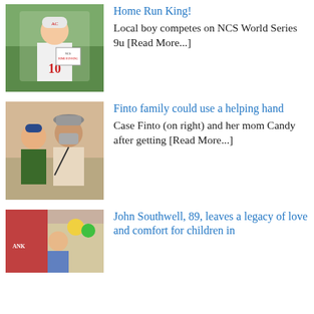[Figure (photo): Young boy in baseball uniform number 10 holding an NCS Home Run King certificate outdoors]
Home Run King!
Local boy competes on NCS World Series 9u [Read More...]
[Figure (photo): Two people, Case Finto on right wearing mask and hat, and her mom Candy, outdoors]
Finto family could use a helping hand
Case Finto (on right) and her mom Candy after getting [Read More...]
[Figure (photo): Older man John Southwell at an outdoor event with balloons]
John Southwell, 89, leaves a legacy of love and comfort for children in